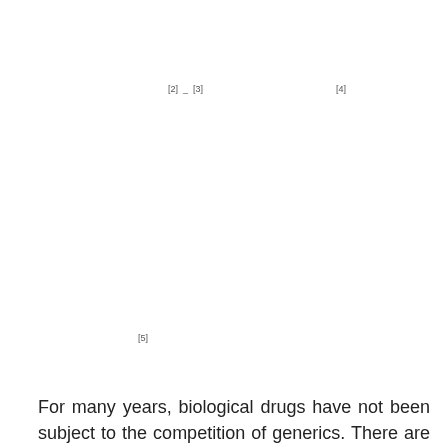[2] _ [3]                              [4]
[5]
For many years, biological drugs have not been subject to the competition of generics. There are good reasons for